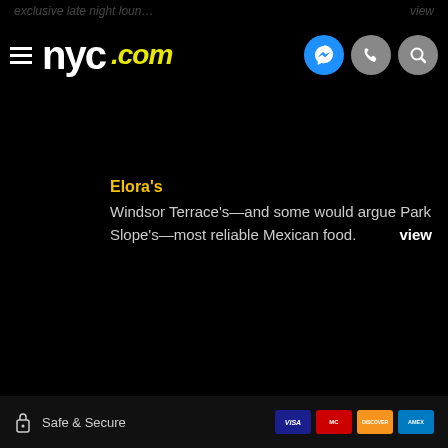exclusive late night loun… view
[Figure (logo): NYC.com logo with hamburger menu icon and three circular icons (Messenger, phone, search) on the right]
Elora's
Windsor Terrace's—and some would argue Park Slope's—most reliable Mexican food.
Safe & Secure — Visa, Mastercard, Discover, Amex